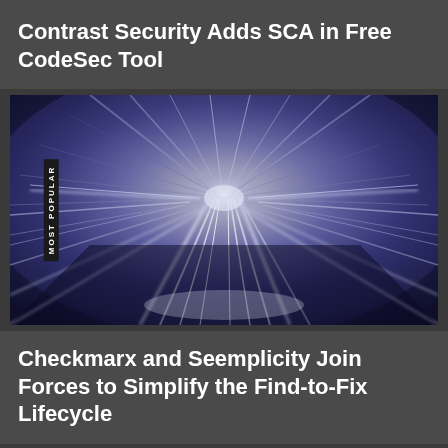Contrast Security Adds SCA in Free CodeSec Tool
[Figure (photo): Motion blur photo of a tunnel or high-speed train track with streaking blue and white lights, creating a vanishing point perspective effect]
Checkmarx and Seemplicity Join Forces to Simplify the Find-to-Fix Lifecycle